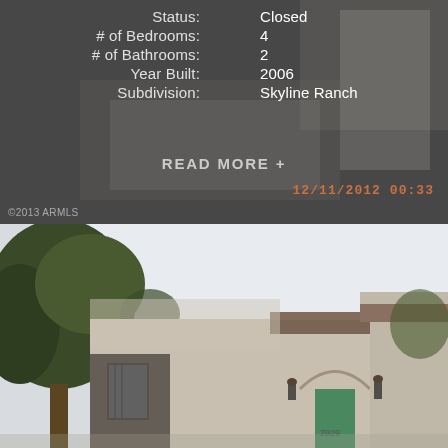[Figure (photo): Darkened photo of a house driveway with garage, overlaid with property listing info text]
Status: Closed
# of Bedrooms: 4
# of Bathrooms: 2
Year Built: 2006
Subdivision: Skyline Ranch
READ MORE +
12/11/2012 00:33
©2013 ARMLS
[Figure (photo): Exterior photo of a two-story stucco house with arched entry, tile roof, and large trees in foreground. Address number 2929 visible.]